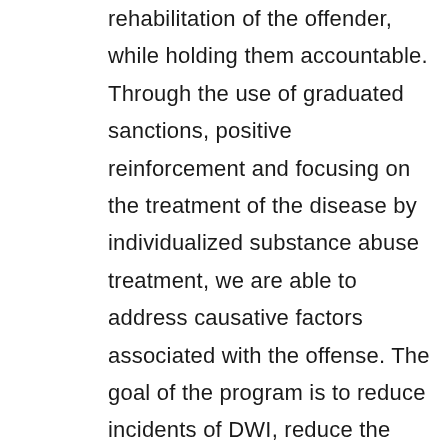rehabilitation of the offender, while holding them accountable. Through the use of graduated sanctions, positive reinforcement and focusing on the treatment of the disease by individualized substance abuse treatment, we are able to address causative factors associated with the offense. The goal of the program is to reduce incidents of DWI, reduce the number of victims affected by DWI, and improve our community's safety, while changing the lives of each participant through healing, treatment, and by providing a support system to each participant. The program consists of a multifaceted team which includes the presiding judge, the Honorable Judge